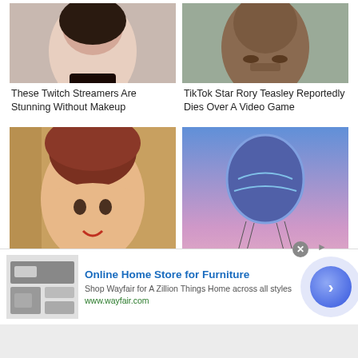[Figure (photo): Close-up photo of a young woman with dark hair wearing a choker necklace, cropped at chin level]
[Figure (photo): Close-up photo of a Black man with a mustache and beard, cropped at chin level]
These Twitch Streamers Are Stunning Without Makeup
TikTok Star Rory Teasley Reportedly Dies Over A Video Game
[Figure (illustration): 3D rendered character from BioShock Infinite - Elizabeth, a brunette woman with red lips looking upward]
[Figure (photo): Fortnite Battle Bus - a stylized video game vehicle with a hot air balloon against a blue-pink gradient sky]
[Figure (other): Advertisement banner for Wayfair furniture with small furniture image thumbnail]
Online Home Store for Furniture
Shop Wayfair for A Zillion Things Home across all styles
www.wayfair.com